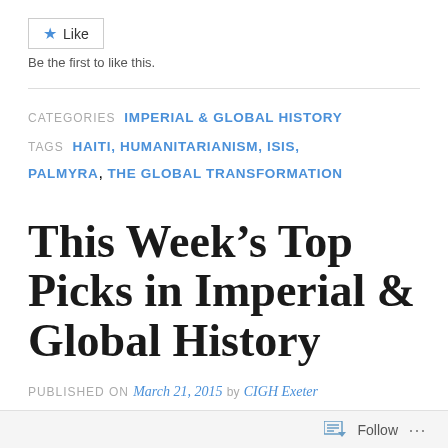[Figure (other): Like button with star icon]
Be the first to like this.
CATEGORIES  IMPERIAL & GLOBAL HISTORY
TAGS  HAITI, HUMANITARIANISM, ISIS, PALMYRA, THE GLOBAL TRANSFORMATION
This Week's Top Picks in Imperial & Global History
PUBLISHED ON March 21, 2015 by CIGH Exeter
Follow ...